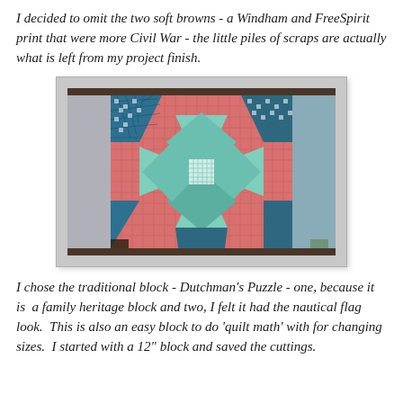I decided to omit the two soft browns - a Windham and FreeSpirit print that were more Civil War - the little piles of scraps are actually what is left from my project finish.
[Figure (photo): A quilt block in the Dutchman's Puzzle pattern, showing teal/blue checkered fabric pieces arranged in a pinwheel design on a pink/coral background, with gray border strips visible around the block.]
I chose the traditional block - Dutchman's Puzzle - one, because it is  a family heritage block and two, I felt it had the nautical flag look.  This is also an easy block to do 'quilt math' with for changing sizes.  I started with a 12" block and saved the cuttings.